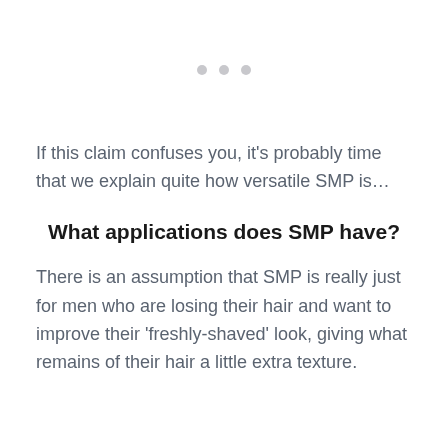[Figure (other): Three light grey dots arranged horizontally, indicating a carousel or placeholder image area]
If this claim confuses you, it's probably time that we explain quite how versatile SMP is…
What applications does SMP have?
There is an assumption that SMP is really just for men who are losing their hair and want to improve their 'freshly-shaved' look, giving what remains of their hair a little extra texture.